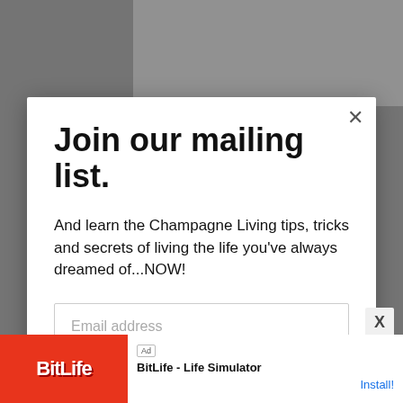[Figure (screenshot): Background website page with product image (white objects on light background) partially visible behind modal overlay]
Join our mailing list.
And learn the Champagne Living tips, tricks and secrets of living the life you've always dreamed of...NOW!
Email address
Subscribe
[Figure (screenshot): BitLife - Life Simulator advertisement banner at bottom of page with red background, sperm icon, and Install! button]